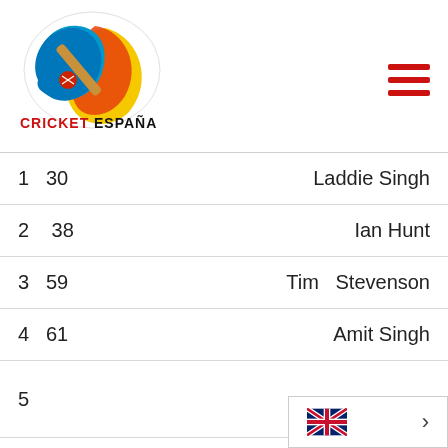[Figure (logo): Cricket España logo — colorful cricket bat and ball graphic with blue, orange, yellow, and brown colors, text reads CRICKET ESPAÑA below]
| Rank | Score | Name |
| --- | --- | --- |
| 1 | 30 | Laddie Singh |
| 2 | 38 | Ian Hunt |
| 3 | 59 | Tim Stevenson |
| 4 | 61 | Amit Singh |
| 5 |  |  |
| 6 |  |  |
[Figure (infographic): UK flag (Union Jack) language selector button with chevron arrow pointing right]